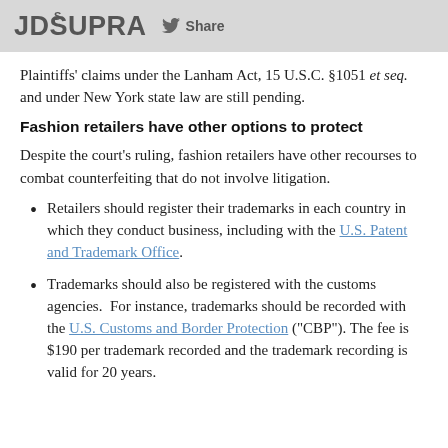JD Supra   Share
Plaintiffs' claims under the Lanham Act, 15 U.S.C. §1051 et seq. and under New York state law are still pending.
Fashion retailers have other options to protect
Despite the court's ruling, fashion retailers have other recourses to combat counterfeiting that do not involve litigation.
Retailers should register their trademarks in each country in which they conduct business, including with the U.S. Patent and Trademark Office.
Trademarks should also be registered with the customs agencies.  For instance, trademarks should be recorded with the U.S. Customs and Border Protection ("CBP"). The fee is $190 per trademark recorded and the trademark recording is valid for 20 years.